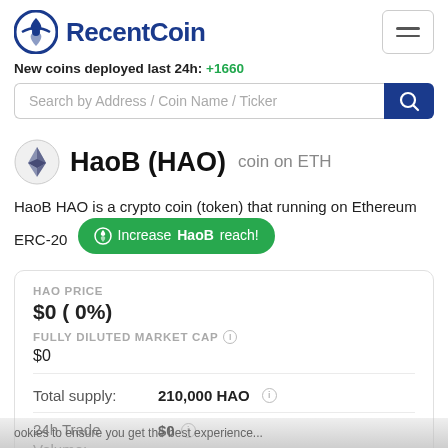RecentCoin
New coins deployed last 24h: +1660
Search by Address / Coin Name / Ticker
HaoB (HAO) coin on ETH
HaoB HAO is a crypto coin (token) that running on Ethereum ERC-20
Increase HaoB reach!
HAO PRICE
$0 ( 0%)
FULLY DILUTED MARKET CAP
$0
Total supply: 210,000 HAO
24h Trade Volume: $0